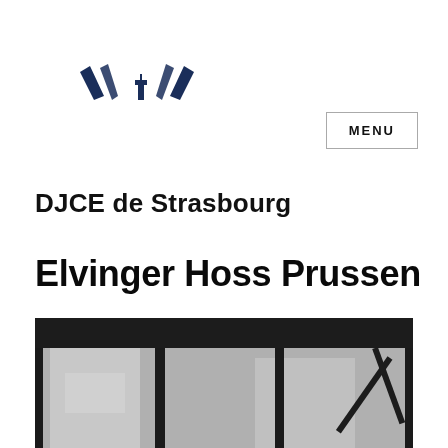[Figure (logo): Dark navy blue stylized leaf/feather logo mark consisting of geometric angular shapes]
MENU
DJCE de Strasbourg
Elvinger Hoss Prussen
[Figure (photo): Black and white architectural photograph showing metal-framed windows or facade of a building against a cloudy sky]